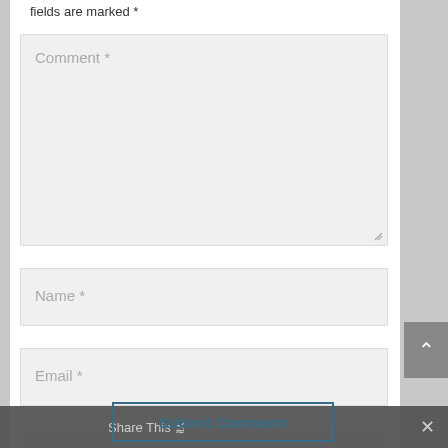fields are marked *
[Figure (screenshot): Comment textarea form field with placeholder text 'Comment *' and resize handle]
[Figure (screenshot): Name input field with placeholder text 'Name *']
[Figure (screenshot): Email input field with placeholder text 'Email *']
[Figure (screenshot): Website input field with placeholder text 'Website']
[Figure (screenshot): Scroll-to-top button (dark grey with upward caret)]
Share This
Submit Comment